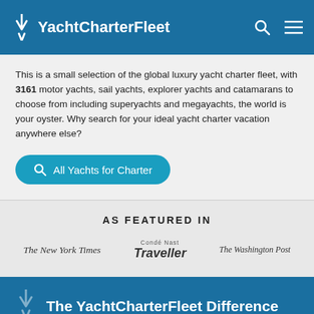YachtCharterFleet
This is a small selection of the global luxury yacht charter fleet, with 3161 motor yachts, sail yachts, explorer yachts and catamarans to choose from including superyachts and megayachts, the world is your oyster. Why search for your ideal yacht charter vacation anywhere else?
All Yachts for Charter
AS FEATURED IN
[Figure (logo): The New York Times logo in serif italic font]
[Figure (logo): Condé Nast Traveller logo with small text above]
[Figure (logo): The Washington Post logo in serif italic font]
The YachtCharterFleet Difference
YachtCharterFleet makes it easy to find the yacht charter vacation that is right for you. We combine thousands of yacht